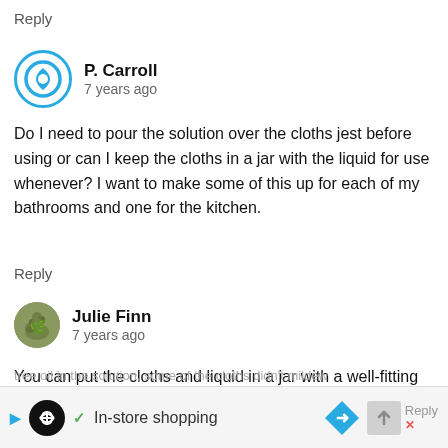Reply
P. Carroll
7 years ago
Do I need to pour the solution over the cloths jest before using or can I keep the cloths in a jar with the liquid for use whenever? I want to make some of this up for each of my bathrooms and one for the kitchen.
Reply
Julie Finn
7 years ago
You can put the cloths and liquid in a jar with a well-fitting lid–that's what I do, and it works just fine. That does, assume, though, that you'll replace the cloths and switch or clean the jar every month or so. I had one jar of wipes that I forgot about, and even with the tea